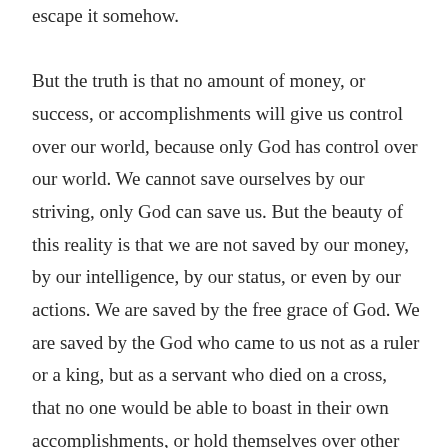escape it somehow.

But the truth is that no amount of money, or success, or accomplishments will give us control over our world, because only God has control over our world. We cannot save ourselves by our striving, only God can save us. But the beauty of this reality is that we are not saved by our money, by our intelligence, by our status, or even by our actions. We are saved by the free grace of God. We are saved by the God who came to us not as a ruler or a king, but as a servant who died on a cross, that no one would be able to boast in their own accomplishments, or hold themselves over other people on account of who they were or what they had. Christ crucified proclaims that there is something more to the world than the human wisdom that puts its trust in success and money and